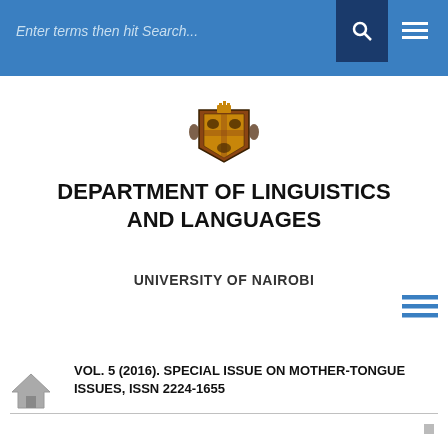Enter terms then hit Search...
[Figure (logo): University of Nairobi coat of arms / crest]
DEPARTMENT OF LINGUISTICS AND LANGUAGES
UNIVERSITY OF NAIROBI
VOL. 5 (2016). SPECIAL ISSUE ON MOTHER-TONGUE ISSUES, ISSN 2224-1655